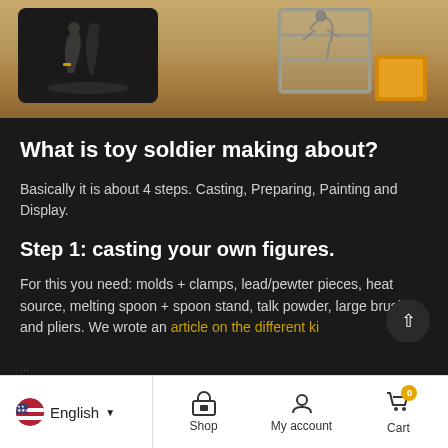[Figure (photo): Photo showing toy soldier miniatures on a wooden surface. Left side shows a black base with painted figures, right side shows unpainted metal figure on a sprue with yellow/orange accessory pieces.]
What is toy soldier making about?
Basically it is about 4 steps. Casting, Preparing, Painting and Display.
Step 1: casting your own figures.
For this you need: molds + clamps, lead/pewter pieces, heat source, melting spoon + spoon stand, talk powder, large brush and pliers. We wrote an article on the different ki...
English  |  Shop  |  My account  |  Cart